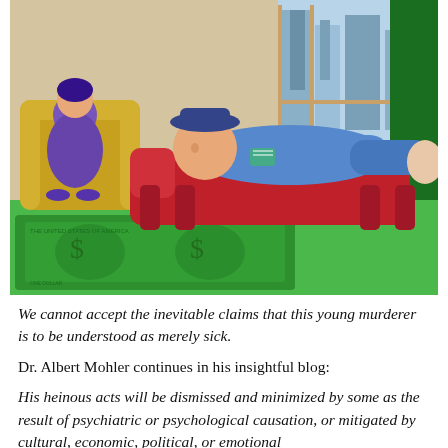[Figure (illustration): Cartoon illustration of a psychiatrist's office scene: a patient (round blue-suited figure with a hat) lying on a red chaise lounge/couch, a therapist sitting in a gold armchair in the background, and a green rug shaped like a dollar bill on the floor. There is a window with a city view and green curtains in the background.]
We cannot accept the inevitable claims that this young murderer is to be understood as merely sick.
Dr. Albert Mohler continues in his insightful blog:
His heinous acts will be dismissed and minimized by some as the result of psychiatric or psychological causation, or mitigated by cultural, economic, political, or emotional